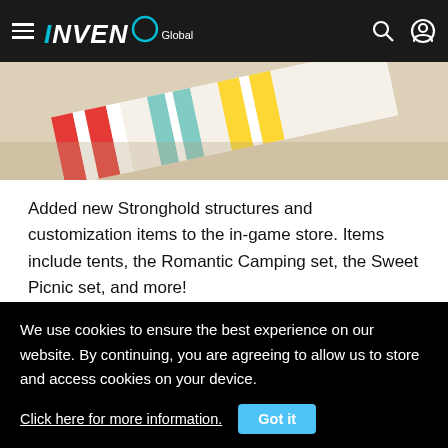INVEN Global
[Figure (photo): Colorful striped textile items (tents/camping equipment) on a sandy/light surface, partially visible at top of page]
Added new Stronghold structures and customization items to the in-game store. Items include tents, the Romantic Camping set, the Sweet Picnic set, and more!
GENERAL STORE UPDATES
Destroyer special packages have been added, which include the Shushire's Will skin set alongside other valuable
We use cookies to ensure the best experience on our website. By continuing, you are agreeing to allow us to store and access cookies on your device.
Click here for more information.  Got it